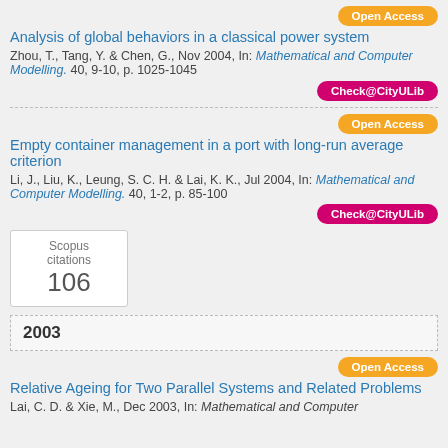Open Access
Analysis of global behaviors in a classical power system
Zhou, T., Tang, Y. & Chen, G., Nov 2004, In: Mathematical and Computer Modelling. 40, 9-10, p. 1025-1045
Check@CityULib
Open Access
Empty container management in a port with long-run average criterion
Li, J., Liu, K., Leung, S. C. H. & Lai, K. K., Jul 2004, In: Mathematical and Computer Modelling. 40, 1-2, p. 85-100
Check@CityULib
Scopus citations 106
2003
Open Access
Relative Ageing for Two Parallel Systems and Related Problems
Lai, C. D. & Xie, M., Dec 2003, In: Mathematical and Computer